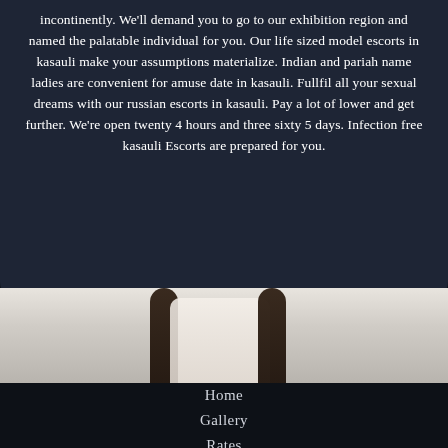incontinently. We'll demand you to go to our exhibition region and named the palatable individual for you. Our life sized model escorts in kasauli make your assumptions materialize. Indian and pariah name ladies are convenient for amuse date in kasauli. Fullfil all your sexual dreams with our russian escorts in kasauli. Pay a lot of lower and get further. We're open twenty 4 hours and three sixty 5 days. Infection free kasauli Escorts are prepared for you.
[Figure (photo): Partial view of a woman's torso and long dark hair against a light background]
Home
Gallery
Rates
Contact
BOB